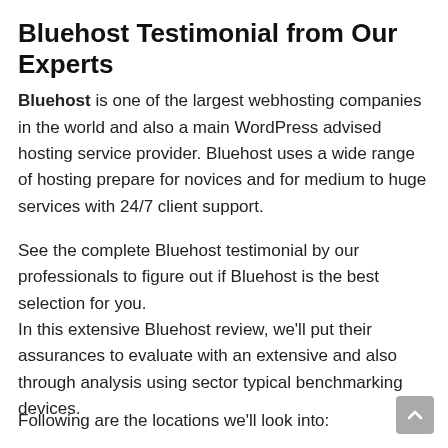Bluehost Testimonial from Our Experts
Bluehost is one of the largest webhosting companies in the world and also a main WordPress advised hosting service provider. Bluehost uses a wide range of hosting prepare for novices and for medium to huge services with 24/7 client support.
See the complete Bluehost testimonial by our professionals to figure out if Bluehost is the best selection for you.
In this extensive Bluehost review, we'll put their assurances to evaluate with an extensive and also through analysis using sector typical benchmarking devices.
Following are the locations we'll look into: